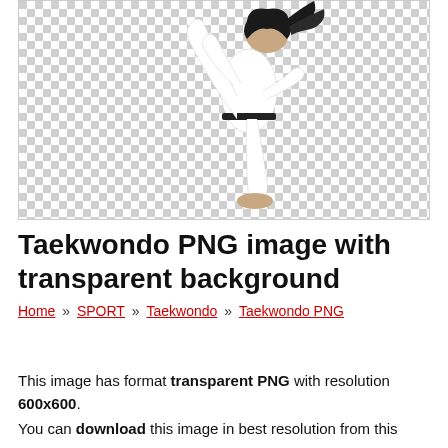[Figure (photo): A taekwondo practitioner wearing a white dobok (uniform) with a black belt, performing a high kick. The figure is shown against a transparent (checkered) background, with the person's leg raised high and hair flying. Only the lower body and part of the torso are visible.]
Taekwondo PNG image with transparent background
Home » SPORT » Taekwondo » Taekwondo PNG
This image has format transparent PNG with resolution 600x600.
You can download this image in best resolution from this